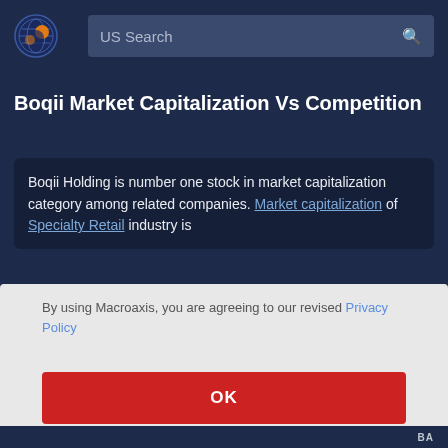US Search
Boqii Market Capitalization Vs Competition
Boqii Holding is number one stock in market capitalization category among related companies. Market capitalization of Specialty Retail industry is
By using Macroaxis, you are agreeing to our revised Privacy Policy
OK